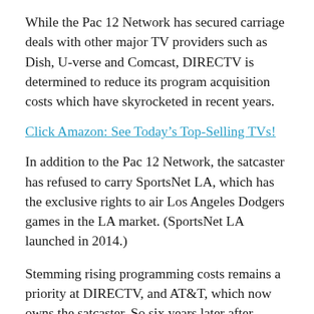While the Pac 12 Network has secured carriage deals with other major TV providers such as Dish, U-verse and Comcast, DIRECTV is determined to reduce its program acquisition costs which have skyrocketed in recent years.
Click Amazon: See Today's Top-Selling TVs!
In addition to the Pac 12 Network, the satcaster has refused to carry SportsNet LA, which has the exclusive rights to air Los Angeles Dodgers games in the LA market. (SportsNet LA launched in 2014.)
Stemming rising programming costs remains a priority at DIRECTV, and AT&T, which now owns the satcaster. So six years later after launch, DIRECTV still does not